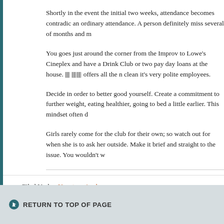Shortly in the event the initial two weeks, attendance becomes contradic an ordinary attendance. A person definitely miss several of months and
You goes just around the corner from the Improv to Lowe's Cineplex and have a Drink Club or two pay day loans at the house. 🔲 🔲🔲 offers all the n clean it's very polite employees.
Decide in order to better good yourself. Create a commitment to further weight, eating healthier, going to bed a little earlier. This mindset often d
Girls rarely come for the club for their own; so watch out for when she is to ask her outside. Make it brief and straight to the issue. You wouldn't w
Filed Under: Uncategorized
RETURN TO TOP OF PAGE